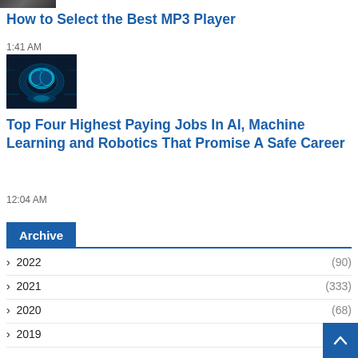[Figure (photo): Small thumbnail image of a dark/grey scene at the top]
How to Select the Best MP3 Player
1:41 AM
[Figure (photo): Glowing blue AI brain circuit illustration on dark background]
Top Four Highest Paying Jobs In AI, Machine Learning and Robotics That Promise A Safe Career
12:04 AM
Archive
› 2022 (90)
› 2021 (333)
› 2020 (68)
› 2019 (43)